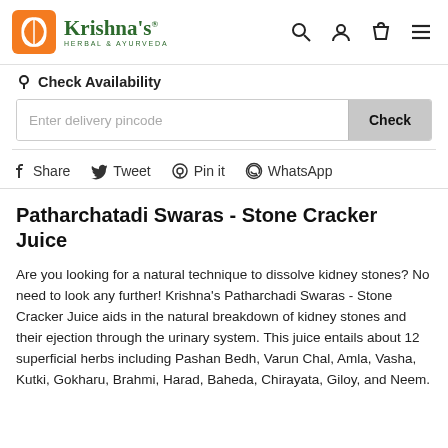Krishna's Herbal & Ayurveda
Check Availability
Enter delivery pincode | Check
Share  Tweet  Pin it  WhatsApp
Patharchatadi Swaras - Stone Cracker Juice
Are you looking for a natural technique to dissolve kidney stones? No need to look any further! Krishna's Patharchadi Swaras - Stone Cracker Juice aids in the natural breakdown of kidney stones and their ejection through the urinary system. This juice entails about 12 superficial herbs including Pashan Bedh, Varun Chal, Amla, Vasha, Kutki, Gokharu, Brahmi, Harad, Baheda, Chirayata, Giloy, and Neem.